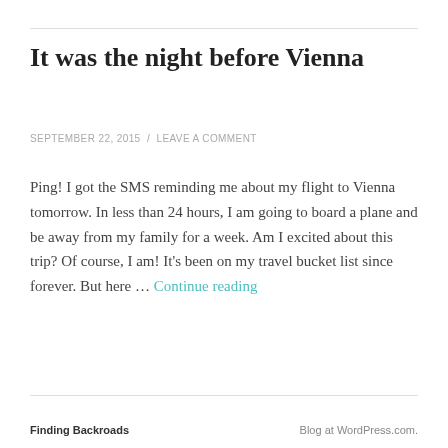It was the night before Vienna
SEPTEMBER 22, 2015  /  LEAVE A COMMENT
Ping! I got the SMS reminding me about my flight to Vienna tomorrow. In less than 24 hours, I am going to board a plane and be away from my family for a week. Am I excited about this trip? Of course, I am! It's been on my travel bucket list since forever. But here … Continue reading
Finding Backroads    Blog at WordPress.com.